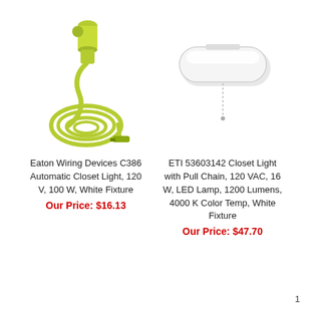[Figure (photo): Eaton Wiring Devices C386 Automatic Closet Light product photo showing a yellow-green lamp socket with coiled cord and alligator clip]
Eaton Wiring Devices C386 Automatic Closet Light, 120 V, 100 W, White Fixture
Our Price: $16.13
[Figure (photo): ETI 53603142 Closet Light with Pull Chain product photo showing a white elongated cylindrical LED fixture with a pull chain hanging below]
ETI 53603142 Closet Light with Pull Chain, 120 VAC, 16 W, LED Lamp, 1200 Lumens, 4000 K Color Temp, White Fixture
Our Price: $47.70
1